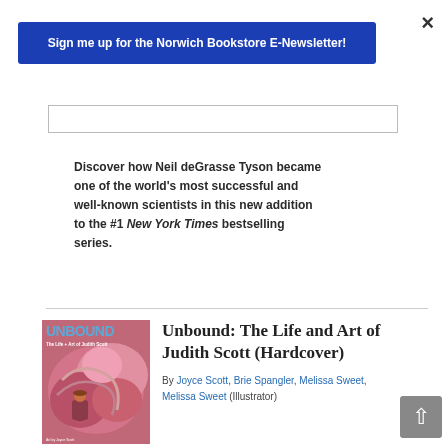×
Sign me up for the Norwich Bookstore E-Newsletter!
Discover how Neil deGrasse Tyson became one of the world's most successful and well-known scientists in this new addition to the #1 New York Times bestselling series.
[Figure (illustration): Book cover for 'Unbound: The Life and Art of Judith Scott' showing colorful artwork with pink and red tones and a figure of a person]
Unbound: The Life and Art of Judith Scott (Hardcover)
By Joyce Scott, Brie Spangler, Melissa Sweet, Melissa Sweet (Illustrator)